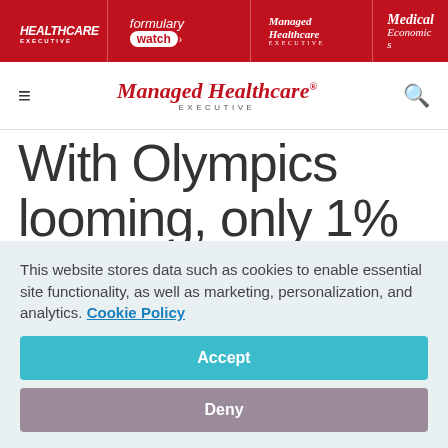HEALTHCARE EXECUTIVE | formulary watch | Managed Healthcare EXECUTIVE | Medical Economics
Managed Healthcare EXECUTIVE
With Olympics looming, only 1% of the Japanese population is vaccinated
This website stores data such as cookies to enable essential site functionality, as well as marketing, personalization, and analytics. Cookie Policy
Accept
Deny